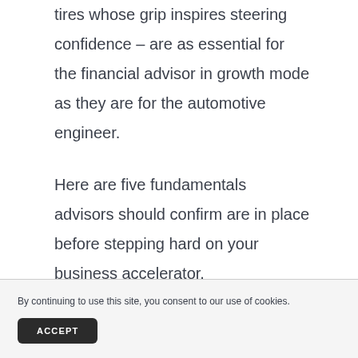tires whose grip inspires steering confidence – are as essential for the financial advisor in growth mode as they are for the automotive engineer.
Here are five fundamentals advisors should confirm are in place before stepping hard on your business accelerator.
By continuing to use this site, you consent to our use of cookies.